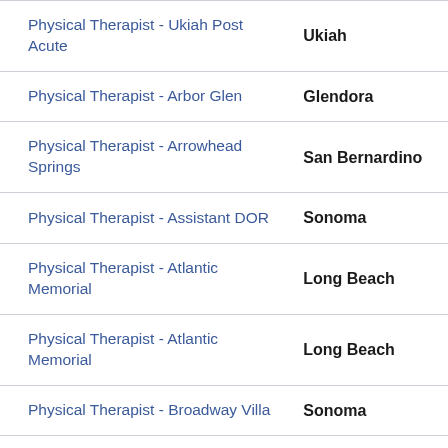| Job Title | Location |
| --- | --- |
| Physical Therapist - Ukiah Post Acute | Ukiah |
| Physical Therapist - Arbor Glen | Glendora |
| Physical Therapist - Arrowhead Springs | San Bernardino |
| Physical Therapist - Assistant DOR | Sonoma |
| Physical Therapist - Atlantic Memorial | Long Beach |
| Physical Therapist - Atlantic Memorial | Long Beach |
| Physical Therapist - Broadway Villa | Sonoma |
| Physical Therapist - Broadway Villa | Sonoma |